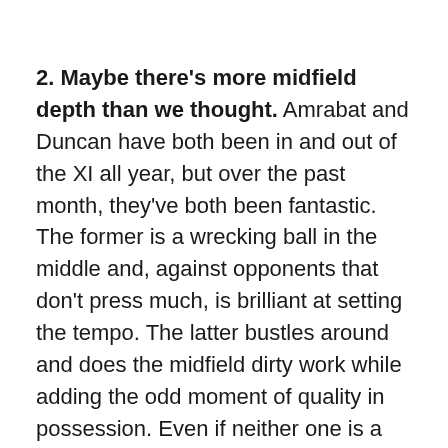2. Maybe there's more midfield depth than we thought. Amrabat and Duncan have both been in and out of the XI all year, but over the past month, they've both been fantastic. The former is a wrecking ball in the middle and, against opponents that don't press much, is brilliant at setting the tempo. The latter bustles around and does the midfield dirty work while adding the odd moment of quality in possession. Even if neither one is a nailed-on starter next year, their presence, along with Jack, Gaetano Castrovilli (when he gets back), Youssef Maleh, and returning loanees Erick Pulgar and Szymon Żurkowski mean that maybe we don't need tremendous upheaval in the engine room so much as one or maybe two good signings.